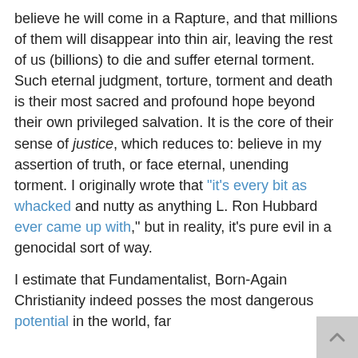believe he will come in a Rapture, and that millions of them will disappear into thin air, leaving the rest of us (billions) to die and suffer eternal torment. Such eternal judgment, torture, torment and death is their most sacred and profound hope beyond their own privileged salvation. It is the core of their sense of justice, which reduces to: believe in my assertion of truth, or face eternal, unending torment. I originally wrote that "it's every bit as whacked and nutty as anything L. Ron Hubbard ever came up with," but in reality, it's pure evil in a genocidal sort of way.
I estimate that Fundamentalist, Born-Again Christianity indeed posses the most dangerous potential in the world, far